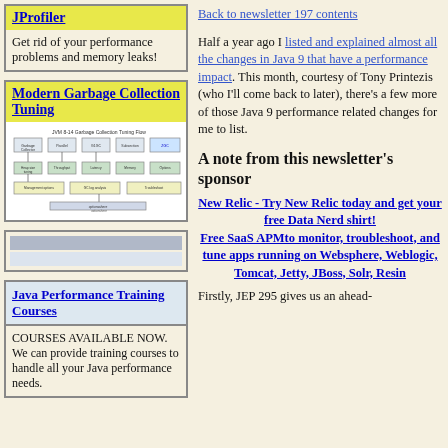JProfiler
Get rid of your performance problems and memory leaks!
Modern Garbage Collection Tuning
[Figure (flowchart): JVM 8-14 Garbage Collection Tuning Flow diagram with boxes and arrows]
[Figure (other): Two horizontal gray bars, an advertisement placeholder]
Java Performance Training Courses
COURSES AVAILABLE NOW. We can provide training courses to handle all your Java performance needs.
Back to newsletter 197 contents
Half a year ago I listed and explained almost all the changes in Java 9 that have a performance impact. This month, courtesy of Tony Printezis (who I'll come back to later), there's a few more of those Java 9 performance related changes for me to list.
A note from this newsletter's sponsor
New Relic - Try New Relic today and get your free Data Nerd shirt! Free SaaS APMto monitor, troubleshoot, and tune apps running on Websphere, Weblogic, Tomcat, Jetty, JBoss, Solr, Resin
Firstly, JEP 295 gives us an ahead-